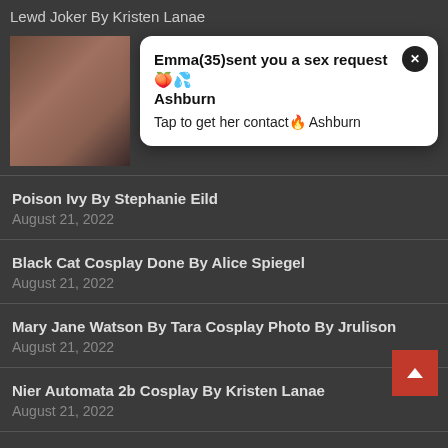Lewd Joker By Kristen Lanae
[Figure (other): Notification popup overlay on a thumbnail image. Popup text: Emma(35)sent you a sex request Ashburn / Tap to get her contact Ashburn]
Poison Ivy By Stephanie Eild
August 21, 2022
Black Cat Cosplay Done By Alice Spiegel
August 21, 2022
Mary Jane Watson By Tara Cosplay Photo By Jrulison
August 21, 2022
Nier Automata 2b Cosplay By Kristen Lanae
August 21, 2022
Oc Cute Neko Miru By Carrykey
August 21, 2022